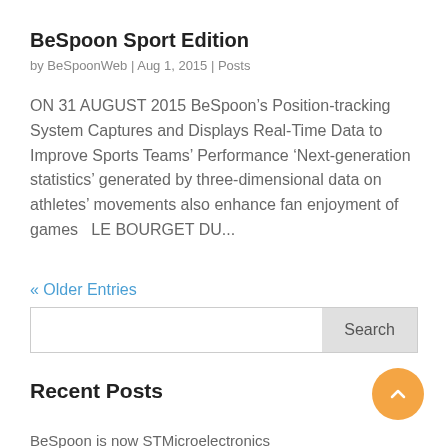BeSpoon Sport Edition
by BeSpoonWeb | Aug 1, 2015 | Posts
ON 31 AUGUST 2015 BeSpoon’s Position-tracking System Captures and Displays Real-Time Data to Improve Sports Teams’ Performance ‘Next-generation statistics’ generated by three-dimensional data on athletes’ movements also enhance fan enjoyment of games   LE BOURGET DU...
« Older Entries
Recent Posts
BeSpoon is now STMicroelectronics
omlox online Go-Live & Digital Fair – 29th June – 2nd